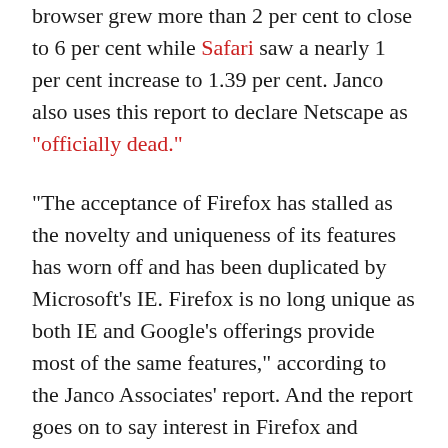browser grew more than 2 per cent to close to 6 per cent while Safari saw a nearly 1 per cent increase to 1.39 per cent. Janco also uses this report to declare Netscape as “officially dead.”
“The acceptance of Firefox has stalled as the novelty and uniqueness of its features has worn off and has been duplicated by Microsoft’s IE. Firefox is no long unique as both IE and Google’s offerings provide most of the same features,” according to the Janco Associates’ report. And the report goes on to say interest in Firefox and Google Chrome could wane in the future because “their browsers do not work on all Web sites.”
Janco estimates that the browser market has stabilized as “the movement toward (Google Desktop and Chrome) has been inhibited by their lack of adoption” and “IE remains a viable alternative to IE 8.” Still